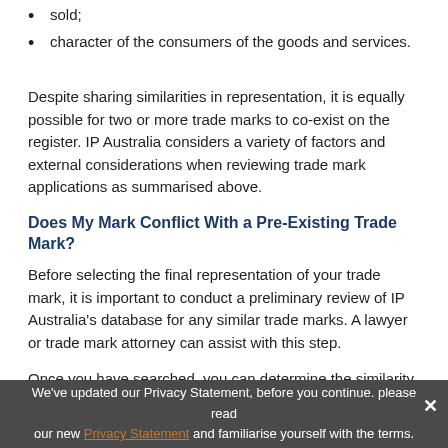sold;
character of the consumers of the goods and services.
Despite sharing similarities in representation, it is equally possible for two or more trade marks to co-exist on the register. IP Australia considers a variety of factors and external considerations when reviewing trade mark applications as summarised above.
Does My Mark Conflict With a Pre-Existing Trade Mark?
Before selecting the final representation of your trade mark, it is important to conduct a preliminary review of IP Australia's database for any similar trade marks. A lawyer or trade mark attorney can assist with this step.
Once you have searched, you can determine the similarity of the trade marks by:
judging both brand names or logos by their look and their sound;
comparing the similarity of the industries they are in;
considering the kind of customer who would likely buy those goods or services;
We've updated our Privacy Statement, before you continue. please read our new Privacy Statement and familiarise yourself with the terms.